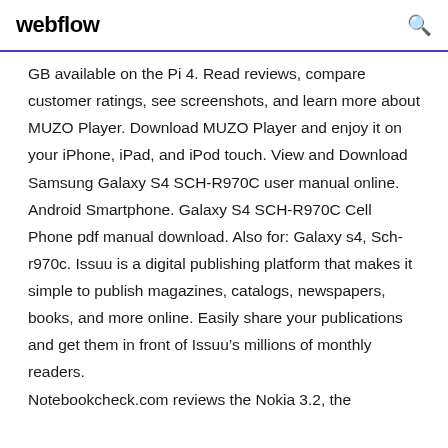webflow
GB available on the Pi 4. Read reviews, compare customer ratings, see screenshots, and learn more about MUZO Player. Download MUZO Player and enjoy it on your iPhone, iPad, and iPod touch. View and Download Samsung Galaxy S4 SCH-R970C user manual online. Android Smartphone. Galaxy S4 SCH-R970C Cell Phone pdf manual download. Also for: Galaxy s4, Sch-r970c. Issuu is a digital publishing platform that makes it simple to publish magazines, catalogs, newspapers, books, and more online. Easily share your publications and get them in front of Issuu’s millions of monthly readers. Notebookcheck.com reviews the Nokia 3.2, the